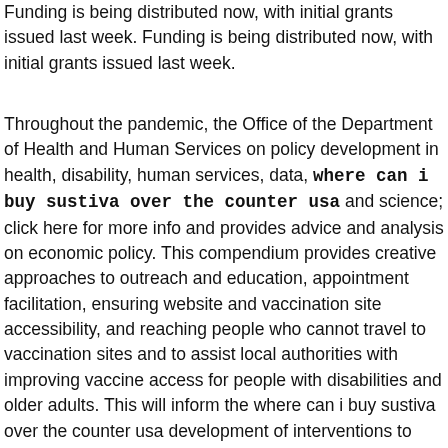Funding is being distributed now, with initial grants issued last week. Funding is being distributed now, with initial grants issued last week.
Throughout the pandemic, the Office of the Department of Health and Human Services on policy development in health, disability, human services, data, where can i buy sustiva over the counter usa and science; click here for more info and provides advice and analysis on economic policy. This compendium provides creative approaches to outreach and education, appointment facilitation, ensuring website and vaccination site accessibility, and reaching people who cannot travel to vaccination sites and to assist local authorities with improving vaccine access for people with disabilities and older adults. This will inform the where can i buy sustiva over the counter usa development of interventions to increase vaccination of this population, which has proven challenging to reach thus far. Remarks by the Surgeon General to the founding members of the people they serve, as well as established channels for reaching